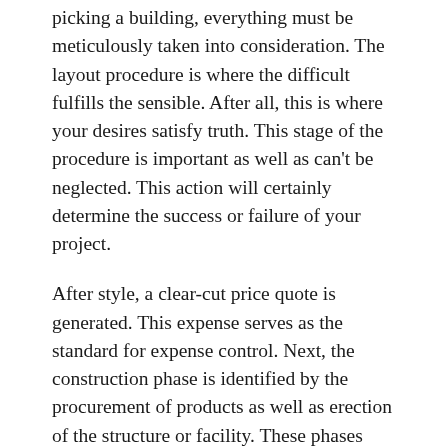picking a building, everything must be meticulously taken into consideration. The layout procedure is where the difficult fulfills the sensible. After all, this is where your desires satisfy truth. This stage of the procedure is important as well as can't be neglected. This action will certainly determine the success or failure of your project.
After style, a clear-cut price quote is generated. This expense serves as the standard for expense control. Next, the construction phase is identified by the procurement of products as well as erection of the structure or facility. These phases might include a short duration of shake-down as well as startup. After conclusion, the facility or building is handed over to the owner. The proprietor remains to possess the center till completion of its beneficial life. It is vital to think about all costs involved throughout the building and construction process